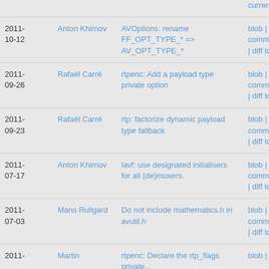| Date | Author | Commit message | Links |
| --- | --- | --- | --- |
|  |  |  | current |
| 2011-10-12 | Anton Khirnov | AVOptions: rename FF_OPT_TYPE_* => AV_OPT_TYPE_* | blob | commitdiff | diff to current |
| 2011-09-26 | Rafaël Carré | rtpenc: Add a payload type private option | blob | commitdiff | diff to current |
| 2011-09-23 | Rafaël Carré | rtp: factorize dynamic payload type fallback | blob | commitdiff | diff to current |
| 2011-07-17 | Anton Khirnov | lavf: use designated initialisers for all (de)muxers. | blob | commitdiff | diff to current |
| 2011-07-03 | Mans Rullgard | Do not include mathematics.h in avutil.h | blob | commitdiff | diff to current |
| 2011- | Martin | rtpenc: Declare the rtp_flags private... | blob | |